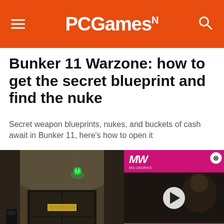PCGamesN
Bunker 11 Warzone: how to get the secret blueprint and find the nuke
Secret weapon blueprints, nukes, and buckets of cash await in Bunker 11, here's how to open it
[Figure (screenshot): Screenshot of Bunker 11 interior in Warzone — a dark military bunker corridor with a heavy metal door, green glowing light on the ceiling. An overlaid video player shows an 'Alone in the Dark Remake' promotional video with MW logo, featuring a play button and a person in a dramatic scene.]